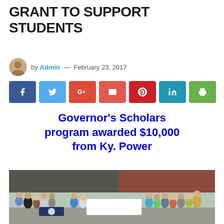GRANT TO SUPPORT STUDENTS
by Admin — February 23, 2017
[Figure (infographic): Social media sharing buttons: Facebook, Twitter, Google+, Email, Pinterest, LinkedIn, Print]
Governor's Scholars program awarded $10,000 from Ky. Power
[Figure (photo): Group photo of students and officials standing outside a building, some holding a large check and banner for Governor's Scholars program]